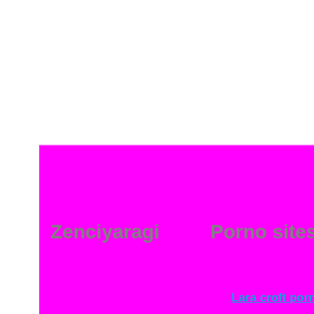Zenciyaragi
Porno sitesi g
Lara croft porno